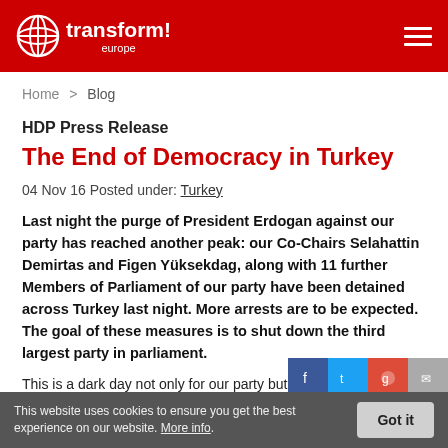transform! europe
Home > Blog
HDP Press Release
The End of Democracy in Turkey
04 Nov 16 Posted under: Turkey
Last night the purge of President Erdogan against our party has reached another peak: our Co-Chairs Selahattin Demirtas and Figen Yüksekdag, along with 11 further Members of Parliament of our party have been detained across Turkey last night. More arrests are to be expected. The goal of these measures is to shut down the third largest party in parliament.
This is a dark day not only for our party but for all of Turkey and the region as it means the end of d...
This website uses cookies to ensure you get the best experience on our website. More info.